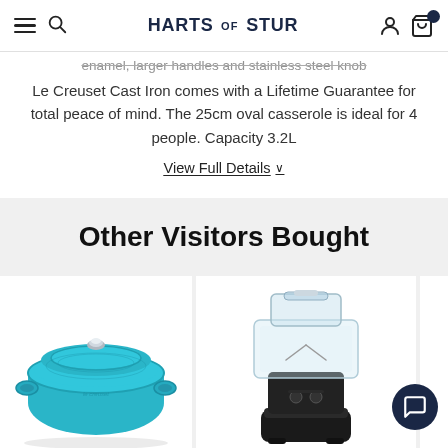HARTS OF STUR
enamel, larger handles and stainless steel knob Le Creuset Cast Iron comes with a Lifetime Guarantee for total peace of mind. The 25cm oval casserole is ideal for 4 people. Capacity 3.2L
View Full Details ∨
Other Visitors Bought
[Figure (photo): Le Creuset teal/turquoise round cast iron casserole dish with lid]
[Figure (photo): Food processor with clear bowl and lid on black base]